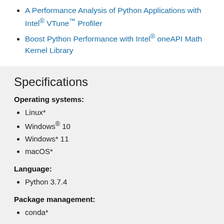A Performance Analysis of Python Applications with Intel® VTune™ Profiler
Boost Python Performance with Intel® oneAPI Math Kernel Library
Specifications
Operating systems:
Linux*
Windows® 10
Windows* 11
macOS*
Language:
Python 3.7.4
Package management:
conda*